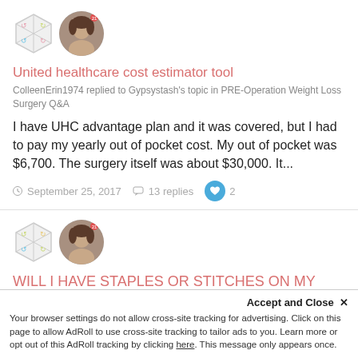[Figure (illustration): Two avatar icons: a hexagonal badge icon and a round profile photo of a woman]
United healthcare cost estimator tool
ColleenErin1974 replied to Gypsystash's topic in PRE-Operation Weight Loss Surgery Q&A
I have UHC advantage plan and it was covered, but I had to pay my yearly out of pocket cost. My out of pocket was $6,700. The surgery itself was about $30,000. It...
September 25, 2017   13 replies   2
[Figure (illustration): Two avatar icons: a hexagonal badge icon and a round profile photo of a woman]
WILL I HAVE STAPLES OR STITCHES ON MY INCISIONS
Accept and Close ×
Your browser settings do not allow cross-site tracking for advertising. Click on this page to allow AdRoll to use cross-site tracking to tailor ads to you. Learn more or opt out of this AdRoll tracking by clicking here. This message only appears once.